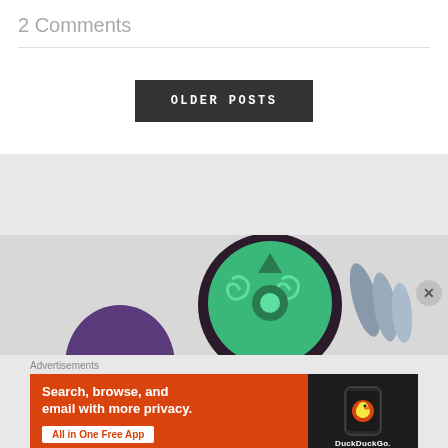2 Comments
OLDER POSTS
[Figure (illustration): Partial illustration of a cartoon character with a green swirling shell/head design and purple body, with grey feather-like elements on the right, on a light grey background]
Advertisements
[Figure (infographic): DuckDuckGo advertisement banner. Orange background with white text: 'Search, browse, and email with more privacy. All in One Free App' with a phone mockup showing DuckDuckGo logo on dark background]